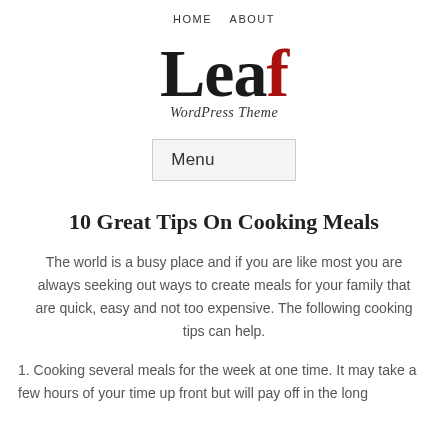HOME   ABOUT
[Figure (logo): Leaf WordPress Theme logo — large serif text 'Leaf' with the letter f in red, subtitle 'WordPress Theme' in italic]
Menu
10 Great Tips On Cooking Meals
The world is a busy place and if you are like most you are always seeking out ways to create meals for your family that are quick, easy and not too expensive. The following cooking tips can help.
1. Cooking several meals for the week at one time. It may take a few hours of your time up front but will pay off in the long